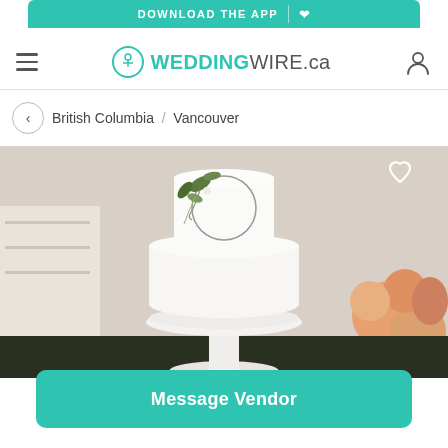[Figure (screenshot): Partial 'DOWNLOAD THE APP' teal banner button at top of mobile screen]
WEDDINGWIRE.ca
British Columbia / Vancouver
[Figure (photo): White two-tier wedding cake on a white pedestal stand, decorated with a geometric circle and greenery/floral accents. Background has peach roses and white wooden decor.]
Message Vendor